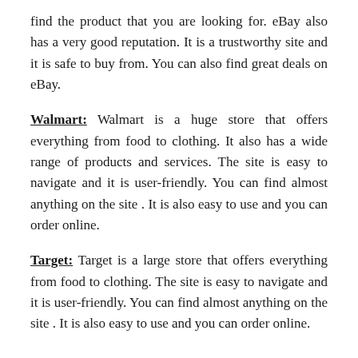find the product that you are looking for. eBay also has a very good reputation. It is a trustworthy site and it is safe to buy from. You can also find great deals on eBay.
Walmart: Walmart is a huge store that offers everything from food to clothing. It also has a wide range of products and services. The site is easy to navigate and it is user-friendly. You can find almost anything on the site . It is also easy to use and you can order online.
Target: Target is a large store that offers everything from food to clothing. The site is easy to navigate and it is user-friendly. You can find almost anything on the site . It is also easy to use and you can order online.